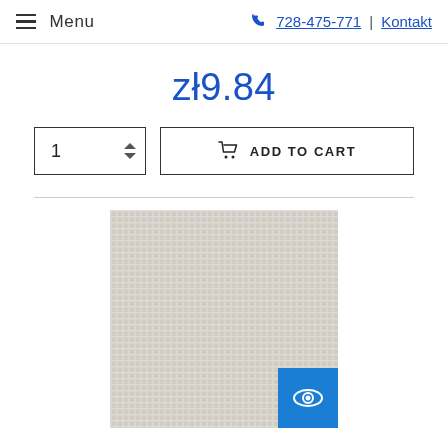Menu | 728-475-771 | Kontakt
zł9.84
1  ADD TO CART
[Figure (photo): Product image of a light grey/beige woven fabric texture, viewed from front. A blue eye-icon button is in the bottom-right corner of the image.]